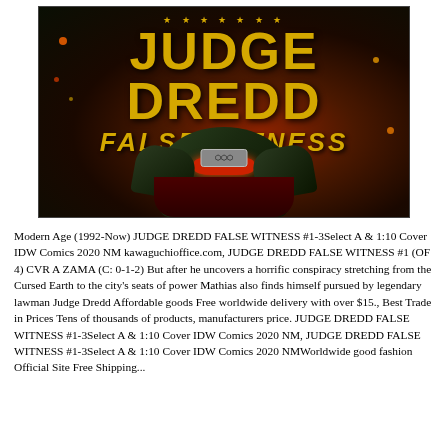[Figure (illustration): Comic book cover for 'Judge Dredd False Witness' showing the title in large gold/yellow bold letters at the top. Stars appear above the title. Below is an illustration of the armored Judge Dredd character in green and dark armor against an orange/red explosive background.]
Modern Age (1992-Now) JUDGE DREDD FALSE WITNESS #1-3Select A & 1:10 Cover IDW Comics 2020 NM kawaguchioffice.com, JUDGE DREDD FALSE WITNESS #1 (OF 4) CVR A ZAMA (C: 0-1-2) But after he uncovers a horrific conspiracy stretching from the Cursed Earth to the city's seats of power Mathias also finds himself pursued by legendary lawman Judge Dredd Affordable goods Free worldwide delivery with over $15., Best Trade in Prices Tens of thousands of products, manufacturers price. JUDGE DREDD FALSE WITNESS #1-3Select A & 1:10 Cover IDW Comics 2020 NM, JUDGE DREDD FALSE WITNESS #1-3Select A & 1:10 Cover IDW Comics 2020 NM Worldwide good fashion Official Site Free Shipping...